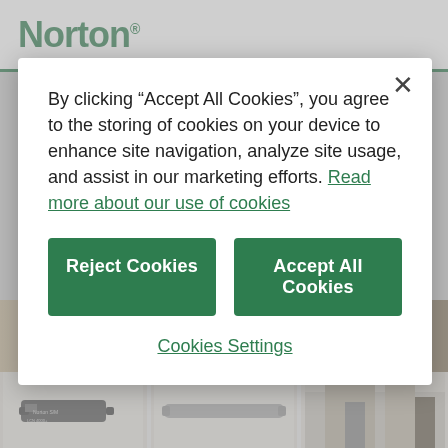Norton
By clicking “Accept All Cookies”, you agree to the storing of cookies on your device to enhance site navigation, analyze site usage, and assist in our marketing efforts. Read more about our use of cookies
Reject Cookies
Accept All Cookies
Cookies Settings
[Figure (photo): Hero banner showing doors and wood paneling]
[Figure (photo): Three product images: door closer devices]